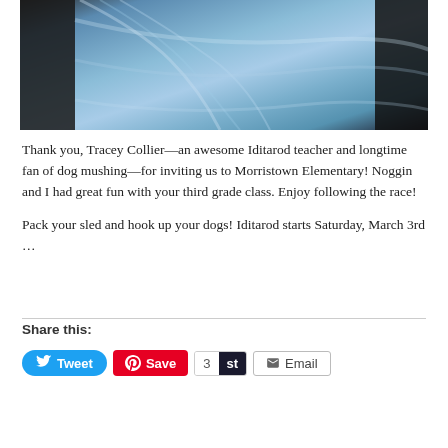[Figure (photo): Close-up photo of blue heathered textile/sock material with dark background elements on left and right]
Thank you, Tracey Collier—an awesome Iditarod teacher and longtime fan of dog mushing—for inviting us to Morristown Elementary! Noggin and I had great fun with your third grade class. Enjoy following the race!
Pack your sled and hook up your dogs! Iditarod starts Saturday, March 3rd …
Share this:
Tweet  Save  3  st  Email